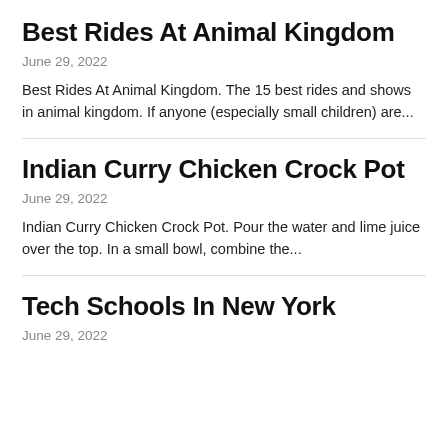Best Rides At Animal Kingdom
June 29, 2022
Best Rides At Animal Kingdom. The 15 best rides and shows in animal kingdom. If anyone (especially small children) are...
Indian Curry Chicken Crock Pot
June 29, 2022
Indian Curry Chicken Crock Pot. Pour the water and lime juice over the top. In a small bowl, combine the...
Tech Schools In New York
June 29, 2022